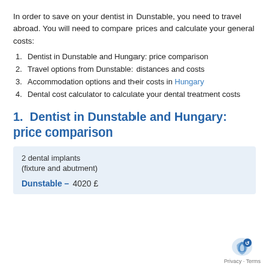In order to save on your dentist in Dunstable, you need to travel abroad. You will need to compare prices and calculate your general costs:
1. Dentist in Dunstable and Hungary: price comparison
2. Travel options from Dunstable: distances and costs
3. Accommodation options and their costs in Hungary
4. Dental cost calculator to calculate your dental treatment costs
1. Dentist in Dunstable and Hungary: price comparison
| 2 dental implants |  |
| (fixture and abutment) |  |
| Dunstable – | 4020 £ |